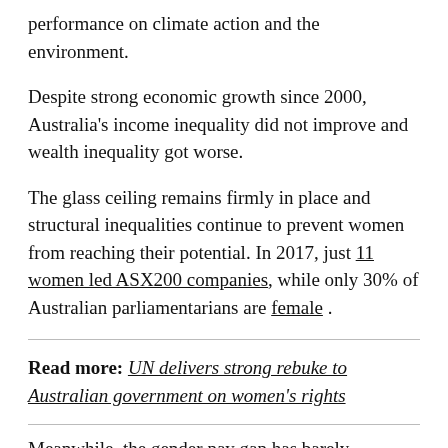performance on climate action and the environment.
Despite strong economic growth since 2000, Australia's income inequality did not improve and wealth inequality got worse.
The glass ceiling remains firmly in place and structural inequalities continue to prevent women from reaching their potential. In 2017, just 11 women led ASX200 companies, while only 30% of Australian parliamentarians are female .
Read more: UN delivers strong rebuke to Australian government on women's rights
Meanwhile, the gender pay gap has barely